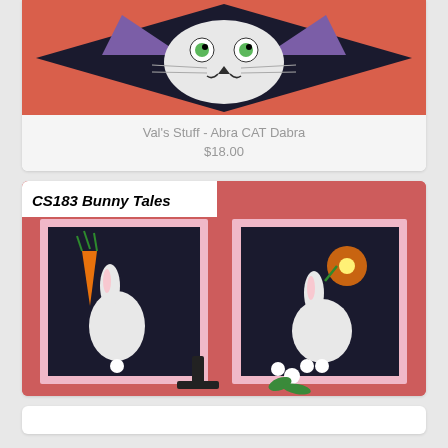[Figure (photo): Cross-stitch needlework cat face in black and purple diamond shape on red/salmon background — partially visible at top of page]
Val's Stuff - Abra CAT Dabra
$18.00
[Figure (photo): Cross-stitch needlework showing two bunny designs labeled CS183 Bunny Tales — white rabbits on black backgrounds with pink scalloped frames, orange carrot and flowers, displayed on red/salmon surface with white flowers and black stand]
CS183 Bunny Tales